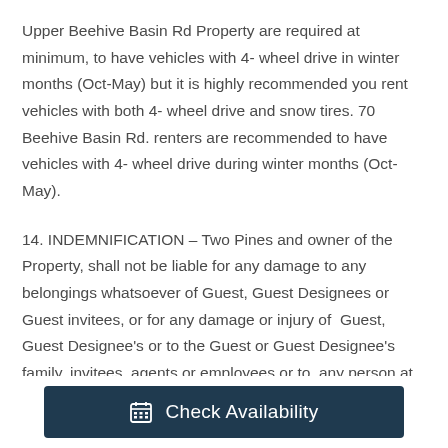Upper Beehive Basin Rd Property are required at minimum, to have vehicles with 4- wheel drive in winter months (Oct-May) but it is highly recommended you rent vehicles with both 4- wheel drive and snow tires. 70 Beehive Basin Rd. renters are recommended to have vehicles with 4- wheel drive during winter months (Oct-May).
14. INDEMNIFICATION – Two Pines and owner of the Property, shall not be liable for any damage to any belongings whatsoever of Guest, Guest Designees or Guest invitees, or for any damage or injury of Guest, Guest Designee's or to the Guest or Guest Designee's family, invitees, agents or employees or to any person at or entering the Property or the building of